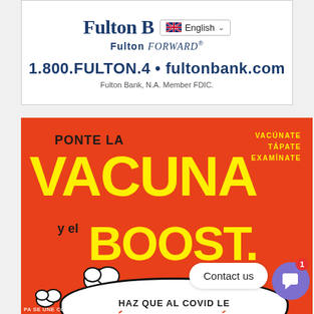[Figure (logo): Fulton Bank advertisement banner with logo, Fulton FORWARD tagline, phone number 1.800.FULTON.4 and website fultonbank.com, with English language selector, and FDIC member notice]
[Figure (infographic): Spanish-language COVID-19 vaccination public health advertisement on red background. Text reads: PONTE LA VACUNA Y EL BOOST. HAZ QUE AL COVID LE DÉ UN PATATÚS. Upper right: VACÚNATE TÁPATE EXAMÍNATE. Contact us button and chat widget visible.]